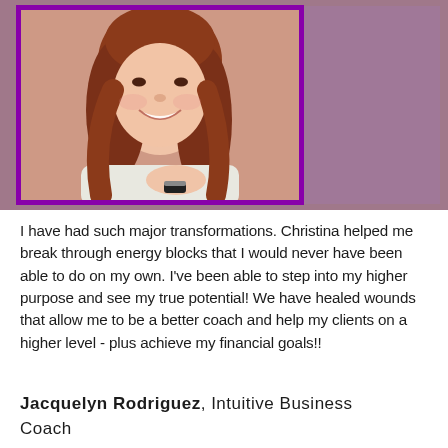[Figure (photo): Portrait photo of a smiling woman with long auburn/red wavy hair, wearing a white top and a smartwatch bracelet, posed with hands up near her chin against a brick background. The photo is framed with a purple border. To the right is a mauve/purple rectangular block.]
I have had such major transformations. Christina helped me break through energy blocks that I would never have been able to do on my own. I've been able to step into my higher purpose and see my true potential! We have healed wounds that allow me to be a better coach and help my clients on a higher level - plus achieve my financial goals!!
Jacquelyn Rodriguez, Intuitive Business Coach